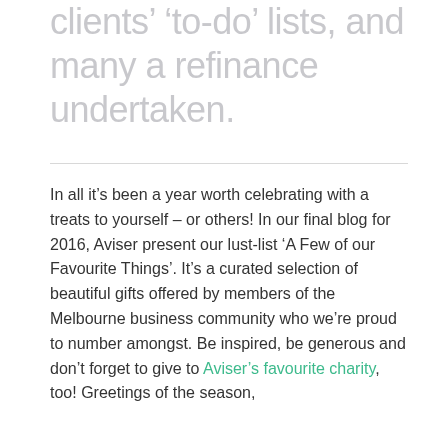clients' 'to-do' lists, and many a refinance undertaken.
In all it's been a year worth celebrating with a treats to yourself – or others! In our final blog for 2016, Aviser present our lust-list 'A Few of our Favourite Things'. It's a curated selection of beautiful gifts offered by members of the Melbourne business community who we're proud to number amongst. Be inspired, be generous and don't forget to give to Aviser's favourite charity, too! Greetings of the season,